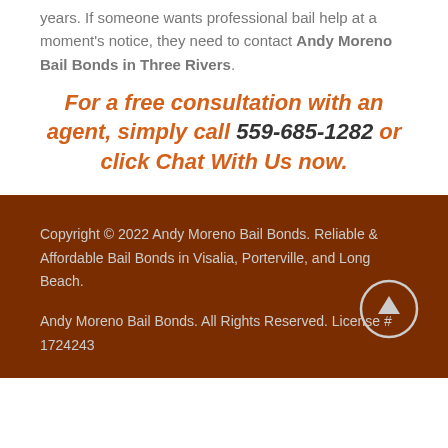years. If someone wants professional bail help at a moment's notice, they need to contact Andy Moreno Bail Bonds in Three Rivers.
For a free consultation with an agent, simply call 559-685-1282 or click Chat With Us now.
Copyright © 2022 Andy Moreno Bail Bonds. Reliable & Affordable Bail Bonds in Visalia, Porterville, and Long Beach.
Andy Moreno Bail Bonds. All Rights Reserved. License # 1724243